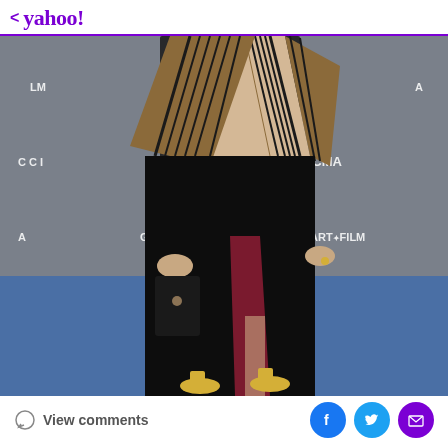< yahoo!
[Figure (photo): A person wearing a black velvet gown with pleated tan and black fan-like bodice detail, holding a black clutch, wearing gold strappy heels. Background shows LACMA ART+FILM event step-and-repeat with GUCCI and LACMA logos on blue carpet.]
View comments